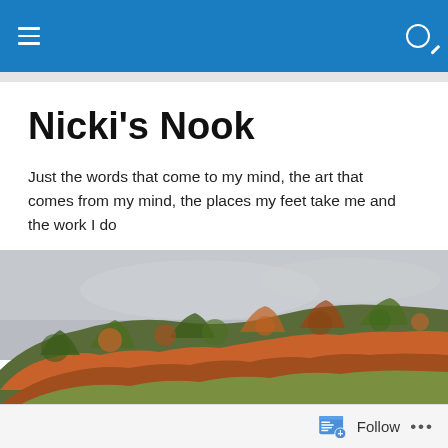Nicki's Nook – navigation bar with hamburger menu and search icon
Nicki's Nook
Just the words that come to my mind, the art that comes from my mind, the places my feet take me and the work I do
[Figure (photo): Autumn hillside with trees in orange, red, and green foliage under a cloudy gray sky]
TAGGED WITH #SWEATPINK
Where Do I Get Products
Follow  •••